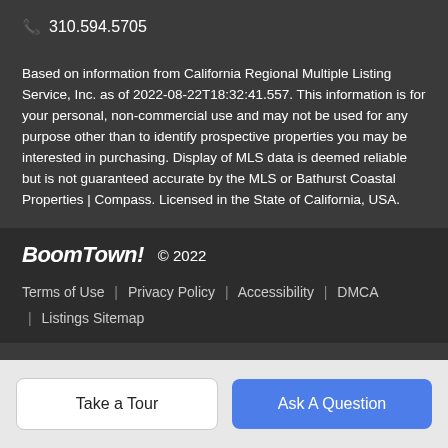📞 310.594.5705
Based on information from California Regional Multiple Listing Service, Inc. as of 2022-08-22T18:32:41.557. This information is for your personal, non-commercial use and may not be used for any purpose other than to identify prospective properties you may be interested in purchasing. Display of MLS data is deemed reliable but is not guaranteed accurate by the MLS or Bathurst Coastal Properties | Compass. Licensed in the State of California, USA.
BoomTown! © 2022
Terms of Use | Privacy Policy | Accessibility | DMCA | Listings Sitemap
Take a Tour
Ask A Question